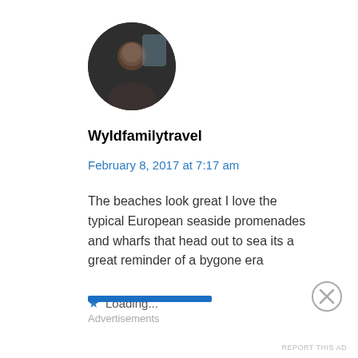[Figure (photo): Circular avatar photo of a person, dark background]
Wyldfamilytravel
February 8, 2017 at 7:17 am
The beaches look great I love the typical European seaside promenades and wharfs that head out to sea its a great reminder of a bygone era
Loading...
Advertisements